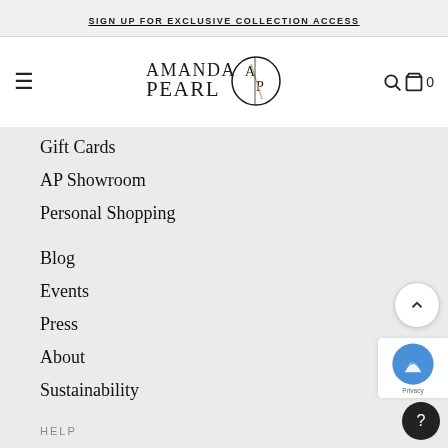SIGN UP FOR EXCLUSIVE COLLECTION ACCESS
[Figure (logo): Amanda Pearl logo with stylized AP monogram in a circle, serif text]
Gift Cards
AP Showroom
Personal Shopping
Blog
Events
Press
About
Sustainability
HELP
(646) 666-0653
Contact Us
FAQs
About Us